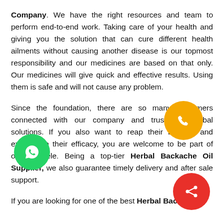Company. We have the right resources and team to perform end-to-end work. Taking care of your health and giving you the solution that can cure different health ailments without causing another disease is our topmost responsibility and our medicines are based on that only. Our medicines will give quick and effective results. Using them is safe and will not cause any problem.
Since the foundation, there are so many customers connected with our company and trust our herbal solutions. If you also want to reap their benefits and experience their efficacy, you are welcome to be part of our clientele. Being a top-tier Herbal Backache Oil Supplier, we also guarantee timely delivery and after sale support.
If you are looking for one of the best Herbal Backache